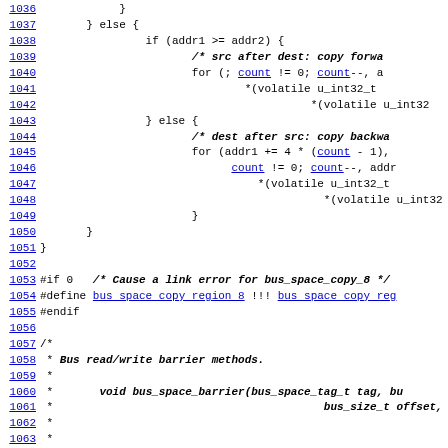Source code listing lines 1036-1067 showing bus_space copy and barrier methods in C
[Figure (screenshot): Source code listing with line numbers 1036-1067 showing C code for bus space copy and barrier methods]